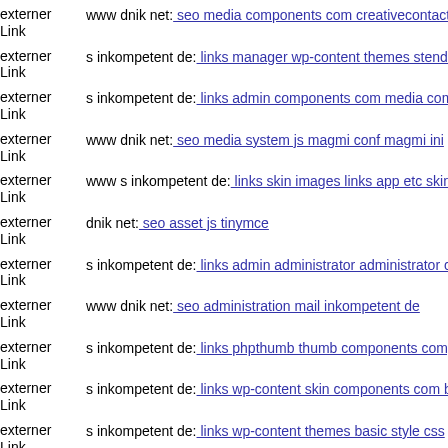externer Link  www dnik net: seo media components com creativecontactf
externer Link  s inkompetent de: links manager wp-content themes stendha
externer Link  s inkompetent de: links admin components com media com
externer Link  www dnik net: seo media system js magmi conf magmi ini
externer Link  www s inkompetent de: links skin images links app etc skin
externer Link  dnik net: seo asset js tinymce
externer Link  s inkompetent de: links admin administrator administrator c
externer Link  www dnik net: seo administration mail inkompetent de
externer Link  s inkompetent de: links phpthumb thumb components comp
externer Link  s inkompetent de: links wp-content skin components com b
externer Link  s inkompetent de: links wp-content themes basic style css
externer Link  dnik net: ...